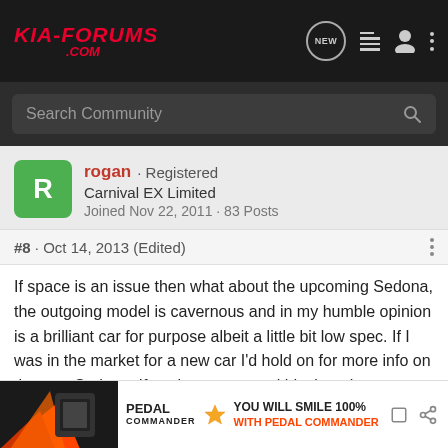KIA-FORUMS.COM
Search Community
rogan · Registered
Carnival EX Limited
Joined Nov 22, 2011 · 83 Posts
#8 · Oct 14, 2013 (Edited)
If space is an issue then what about the upcoming Sedona, the outgoing model is cavernous and in my humble opinion is a brilliant car for purpose albeit a little bit low spec. If I was in the market for a new car I'd hold on for more info on the new Sedona. If you've got young kids then the power sliding doors are an option you have to tick.
[Figure (infographic): Pedal Commander advertisement banner with orange graphic and text: YOU WILL SMILE 100% WITH PEDAL COMMANDER]